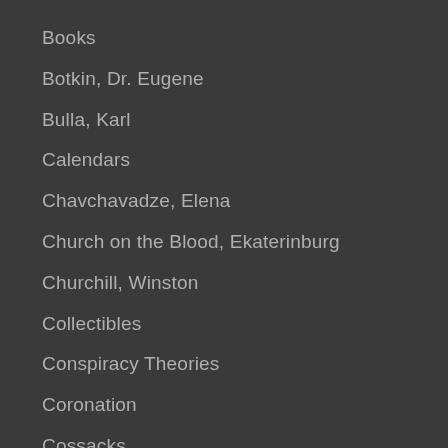Books
Botkin, Dr. Eugene
Bulla, Karl
Calendars
Chavchavadze, Elena
Church on the Blood, Ekaterinburg
Churchill, Winston
Collectibles
Conspiracy Theories
Coronation
Cossacks
Crimea
Demidova, Anna
Diaries & Letters